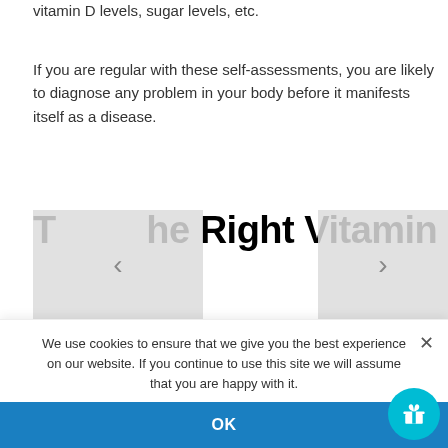vitamin D levels, sugar levels, etc.
If you are regular with these self-assessments, you are likely to diagnose any problem in your body before it manifests itself as a disease.
The Right Vitamins
Vitamins are great additives for when you have a deficiency in any levels in your body. The following vitamins allow for a smooth immune system flow.
Vitamin A
We use cookies to ensure that we give you the best experience on our website. If you continue to use this site we will assume that you are happy with it.